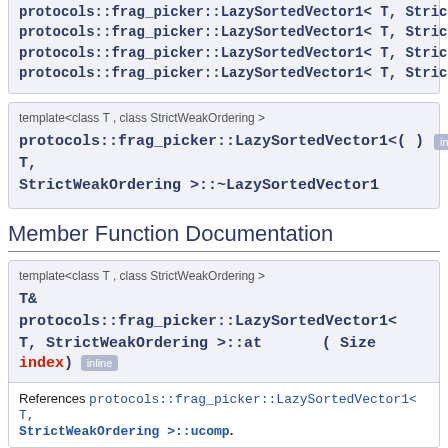protocols::frag_picker::LazySortedVector1< T, StrictWeakOrdering (x4 lines, clipped at top)
template<class T , class StrictWeakOrdering > protocols::frag_picker::LazySortedVector1< T, StrictWeakOrdering >::~LazySortedVector1 () inline
Member Function Documentation
template<class T , class StrictWeakOrdering > T& protocols::frag_picker::LazySortedVector1< T, StrictWeakOrdering >::at ( Size index) inline
References protocols::frag_picker::LazySortedVector1< T, StrictWeakOrdering >::ucomp.